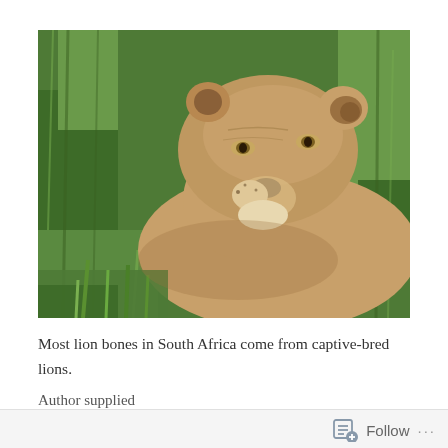[Figure (photo): Close-up photograph of a lioness resting in green grass, head slightly raised, viewed from the side, with lush green vegetation filling the background.]
Most lion bones in South Africa come from captive-bred lions.
Author supplied
Follow ...